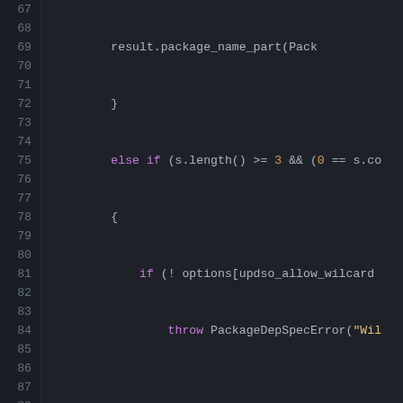[Figure (screenshot): Source code editor screenshot showing C++ code with syntax highlighting on dark background. Lines 67-94 are visible. Code includes conditional logic with else if blocks, throw statements, result assignments, and a void function definition envless_add_package_requirement.]